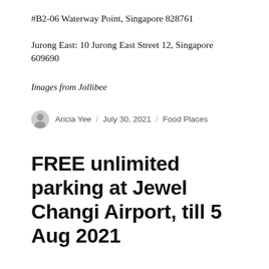#B2-06 Waterway Point, Singapore 828761
Jurong East: 10 Jurong East Street 12, Singapore 609690
Images from Jollibee
Aricia Yee / July 30, 2021 / Food Places
FREE unlimited parking at Jewel Changi Airport, till 5 Aug 2021